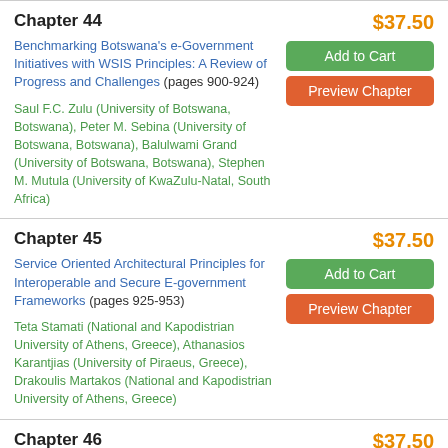Chapter 44
$37.50
Benchmarking Botswana's e-Government Initiatives with WSIS Principles: A Review of Progress and Challenges (pages 900-924)
Add to Cart
Preview Chapter
Saul F.C. Zulu (University of Botswana, Botswana), Peter M. Sebina (University of Botswana, Botswana), Balulwami Grand (University of Botswana, Botswana), Stephen M. Mutula (University of KwaZulu-Natal, South Africa)
Chapter 45
$37.50
Service Oriented Architectural Principles for Interoperable and Secure E-government Frameworks (pages 925-953)
Add to Cart
Preview Chapter
Teta Stamati (National and Kapodistrian University of Athens, Greece), Athanasios Karantjias (University of Piraeus, Greece), Drakoulis Martakos (National and Kapodistrian University of Athens, Greece)
Chapter 46
$37.50